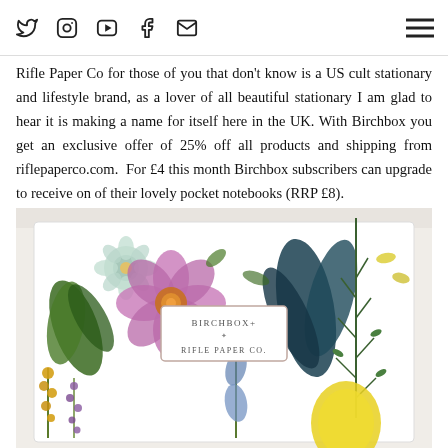[Social icons: Twitter, Instagram, YouTube, Facebook, Email] [Hamburger menu]
Rifle Paper Co for those of you that don't know is a US cult stationary and lifestyle brand, as a lover of all beautiful stationary I am glad to hear it is making a name for itself here in the UK. With Birchbox you get an exclusive offer of 25% off all products and shipping from riflepaperco.com. For £4 this month Birchbox subscribers can upgrade to receive on of their lovely pocket notebooks (RRP £8).
[Figure (photo): A gift box with botanical floral illustration featuring flowers, leaves, lemons and herbs on white background. A small label reads 'BIRCHBOX+ RIFLE PAPER CO.']